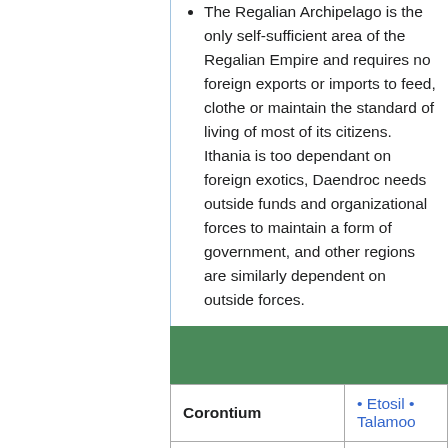The Regalian Archipelago is the only self-sufficient area of the Regalian Empire and requires no foreign exports or imports to feed, clothe or maintain the standard of living of most of its citizens. Ithania is too dependant on foreign exotics, Daendroc needs outside funds and organizational forces to maintain a form of government, and other regions are similarly dependent on outside forces.
| Region | Areas |
| --- | --- |
| Corontium | • Etosil • Talamoo... |
| Daen | • Ithania • Teled M... |
| The Far West | • Sundial Isles • R... |
| Farah'deen | • Farah'deen • |